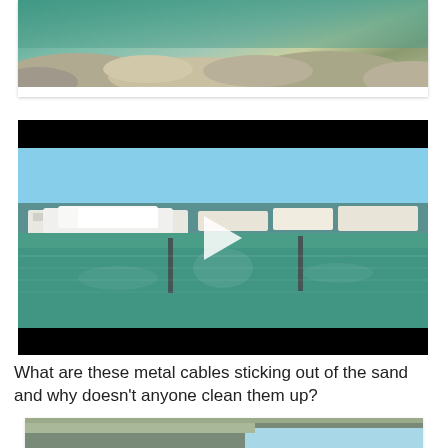[Figure (photo): Aerial/close-up view of clear green water over rocks near a rocky shoreline]
[Figure (screenshot): Video player showing a marina with yachts and boats docked, historic buildings in background, play button overlay, black letterbox bars top and bottom]
What are these metal cables sticking out of the sand and why doesn't anyone clean them up?
[Figure (photo): Rocky beach shoreline with debris, water visible on the right side]